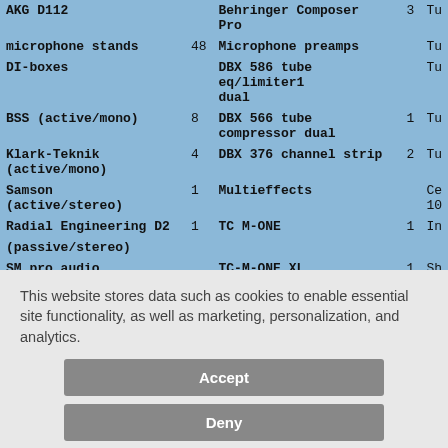| AKG D112 |  | Behringer Composer Pro | 3 | Tu |
| microphone stands | 48 | Microphone preamps |  | Tu |
| DI-boxes |  | DBX 586 tube eq/limiter1 dual |  | Tu |
| BSS (active/mono) | 8 | DBX 566 tube compressor dual | 1 | Tu |
| Klark-Teknik (active/mono) | 4 | DBX 376 channel strip | 2 | Tu |
| Samson (active/stereo) | 1 | Multieffects |  | Ce 10 |
| Radial Engineering D2 (passive/stereo) | 1 | TC M-ONE | 1 | In |
| SM pro audio (active/81 ch) |  | TC-M-ONE XL | 1 | Sh re |
This website stores data such as cookies to enable essential site functionality, as well as marketing, personalization, and analytics.
Accept
Deny